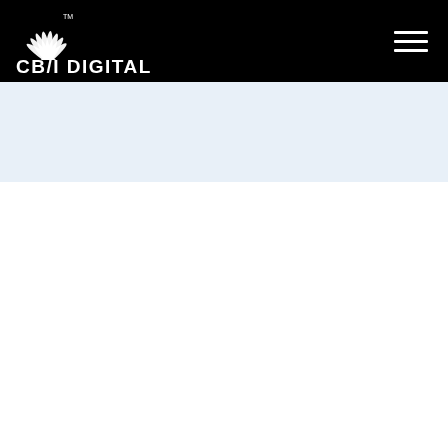[Figure (logo): CB/I Digital logo with white stylized fan/shell icon and TM mark, white bold text reading CB/I DIGITAL on black background header]
[Figure (other): Hamburger menu icon (three horizontal white lines) in top right of black header bar]